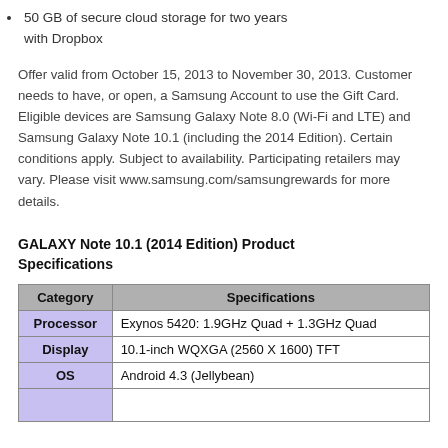50 GB of secure cloud storage for two years with Dropbox
Offer valid from October 15, 2013 to November 30, 2013. Customer needs to have, or open, a Samsung Account to use the Gift Card. Eligible devices are Samsung Galaxy Note 8.0 (Wi-Fi and LTE) and Samsung Galaxy Note 10.1 (including the 2014 Edition). Certain conditions apply. Subject to availability. Participating retailers may vary. Please visit www.samsung.com/samsungrewards for more details.
GALAXY Note 10.1 (2014 Edition) Product Specifications
| Category | Specifications |
| --- | --- |
| Processor | Exynos 5420: 1.9GHz Quad + 1.3GHz Quad |
| Display | 10.1-inch WQXGA (2560 X 1600) TFT |
| OS | Android 4.3 (Jellybean) |
|  |  |